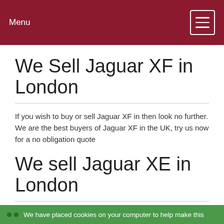Menu
We Sell Jaguar XF in London
If you wish to buy or sell Jaguar XF in then look no further. We are the best buyers of Jaguar XF in the UK, try us now for a no obligation quote
We sell Jaguar XE in London
The new Baby Jaguar has grown up fast, with mature good looks and modern styling this has become the buyers choice within this competitive sector, contact us today with options on used Jaguar XE
We have placed cookies on your computer to help make this